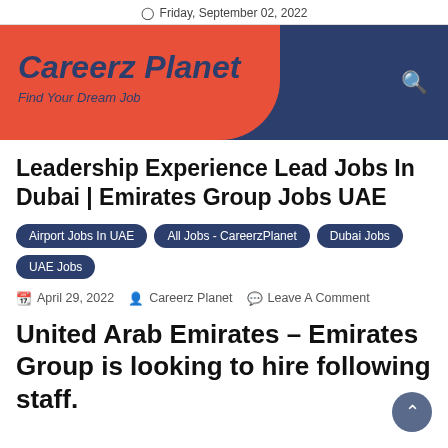Friday, September 02, 2022
[Figure (logo): Careeerz Planet logo with red blob shape on dark navy background, italic bold text 'Careeerz Planet' and tagline 'Find Your Dream Job']
Leadership Experience Lead Jobs In Dubai | Emirates Group Jobs UAE
Airport Jobs In UAE
All Jobs - CareerzPlanet
Dubai Jobs
UAE Jobs
April 29, 2022   Careerz Planet   Leave A Comment
United Arab Emirates – Emirates Group is looking to hire following staff.